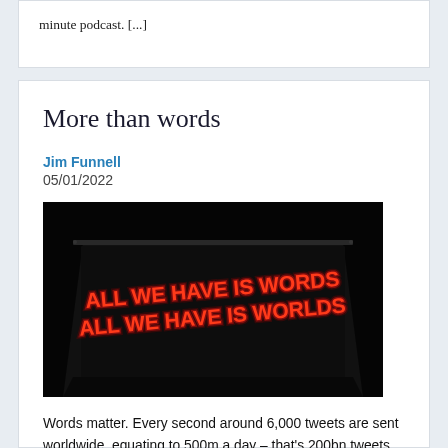minute podcast. [...]
More than words
Jim Funnell
05/01/2022
[Figure (photo): Dark photograph of a building marquee displaying red neon-style text reading 'ALL WE HAVE IS WORDS' on two lines, with 'ALL WE HAVE IS WORLDS' on two lines below.]
Words matter. Every second around 6,000 tweets are sent worldwide, equating to 500m a day – that's 200bn tweets a day and more...